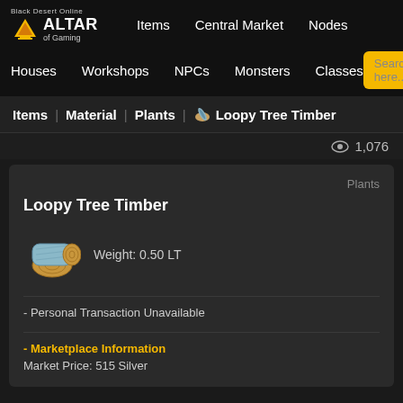Black Desert Online - Altar of Gaming | Items | Central Market | Nodes | Houses | Workshops | NPCs | Monsters | Classes
Items | Material | Plants | Loopy Tree Timber
1,076
Plants
Loopy Tree Timber
Weight: 0.50 LT
- Personal Transaction Unavailable
- Marketplace Information
Market Price: 515 Silver